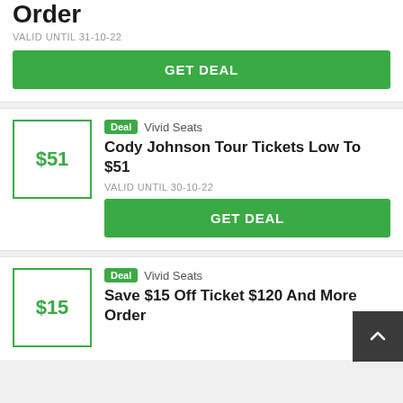Order
VALID UNTIL 31-10-22
GET DEAL
Deal  Vivid Seats
Cody Johnson Tour Tickets Low To $51
VALID UNTIL 30-10-22
GET DEAL
Deal  Vivid Seats
Save $15 Off Ticket $120 And More Order
VALID UNTIL 30-10-22